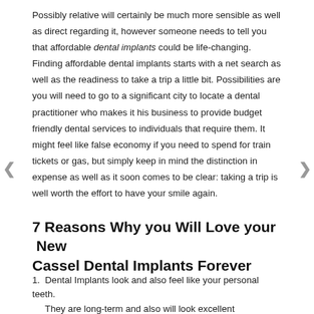Possibly relative will certainly be much more sensible as well as direct regarding it, however someone needs to tell you that affordable dental implants could be life-changing. Finding affordable dental implants starts with a net search as well as the readiness to take a trip a little bit. Possibilities are you will need to go to a significant city to locate a dental practitioner who makes it his business to provide budget friendly dental services to individuals that require them. It might feel like false economy if you need to spend for train tickets or gas, but simply keep in mind the distinction in expense as well as it soon comes to be clear: taking a trip is well worth the effort to have your smile again.
7 Reasons Why you Will Love your  New Cassel Dental Implants Forever
Dental Implants look and also feel like your personal teeth. They are long-term and also will look excellent
Improved speech, because the dental implants are fused...